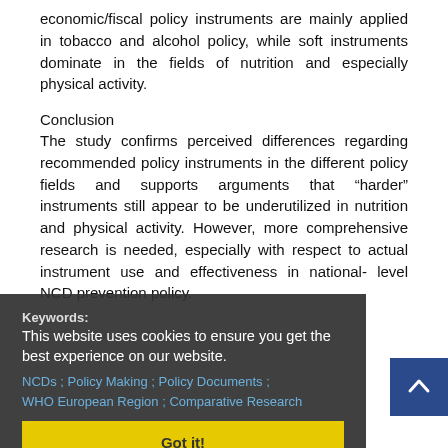economic/fiscal policy instruments are mainly applied in tobacco and alcohol policy, while soft instruments dominate in the fields of nutrition and especially physical activity.
Conclusion
The study confirms perceived differences regarding recommended policy instruments in the different policy fields and supports arguments that “harder” instruments still appear to be underutilized in nutrition and physical activity. However, more comprehensive research is needed, especially with respect to actual instrument use and effectiveness in national- level NCD prevention policy.
Keywords:
NCDs ; Policy Making ; Policy Documents ; WHO European Region ; Comparative Research
Got it!
+ References